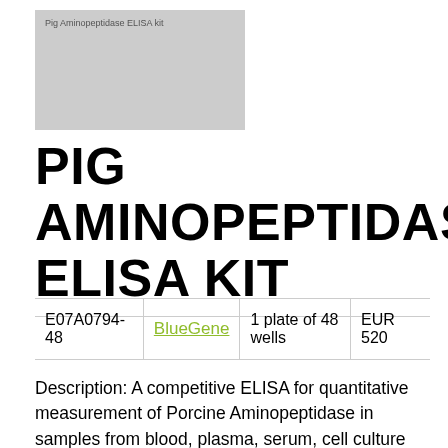[Figure (logo): Gray box with small text: Pig Aminopeptidase ELISA kit]
PIG AMINOPEPTIDASE ELISA KIT
|  |  |  |  |
| --- | --- | --- | --- |
| E07A0794-48 | BlueGene | 1 plate of 48 wells | EUR 520 |
Description: A competitive ELISA for quantitative measurement of Porcine Aminopeptidase in samples from blood, plasma, serum, cell culture supernatant and other biological fluids. This is a